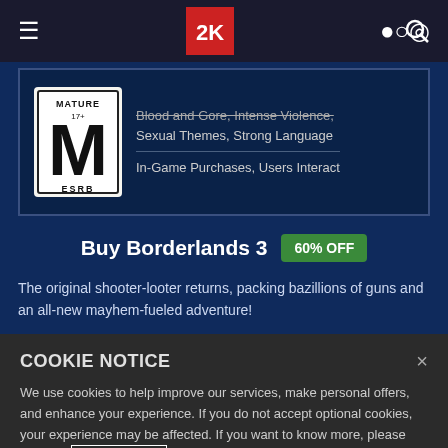[Figure (logo): 2K Games red logo with white text]
[Figure (illustration): ESRB Mature (M) rating badge with content descriptors: Blood and Gore, Intense Violence, Sexual Themes, Strong Language, In-Game Purchases, Users Interact]
Buy Borderlands 3  60% OFF
The original shooter-looter returns, packing bazillions of guns and an all-new mayhem-fueled adventure!
COOKIE NOTICE
We use cookies to help improve our services, make personal offers, and enhance your experience. If you do not accept optional cookies, your experience may be affected. If you want to know more, please read the Cookie Policy
Cookie Settings